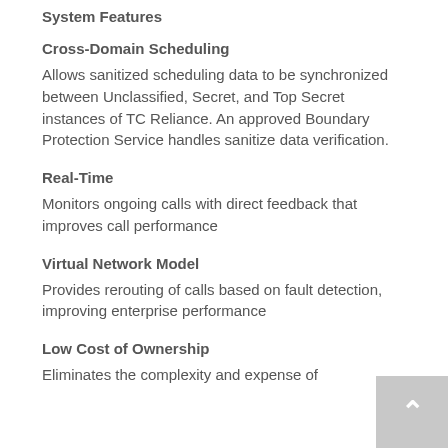System Features
Cross-Domain Scheduling
Allows sanitized scheduling data to be synchronized between Unclassified, Secret, and Top Secret instances of TC Reliance. An approved Boundary Protection Service handles sanitize data verification.
Real-Time
Monitors ongoing calls with direct feedback that improves call performance
Virtual Network Model
Provides rerouting of calls based on fault detection, improving enterprise performance
Low Cost of Ownership
Eliminates the complexity and expense of